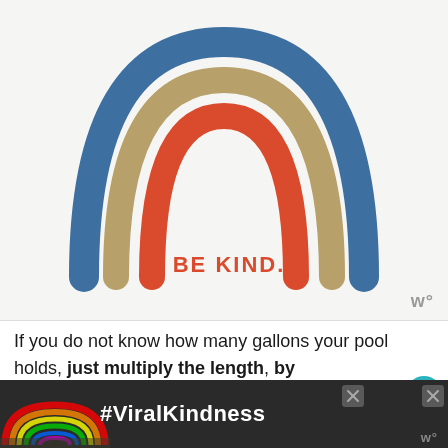[Figure (illustration): A stylized rainbow arch illustration with three arcs in blue (outer), tan/gold (middle), and red/orange (inner), on a light gray-white background. Below the arches the text 'BE KIND.' appears in red/orange. A watermark logo appears in the bottom right of the image area.]
If you do not know how many gallons your pool holds, just multiply the length, by the width, and finally by the relative depth of your pool and you will have an
[Figure (infographic): Advertisement banner at the bottom of the page with dark background, colorful rainbow image on left, and bold white text '#ViralKindness'. Close buttons appear top right. A logo mark appears bottom right.]